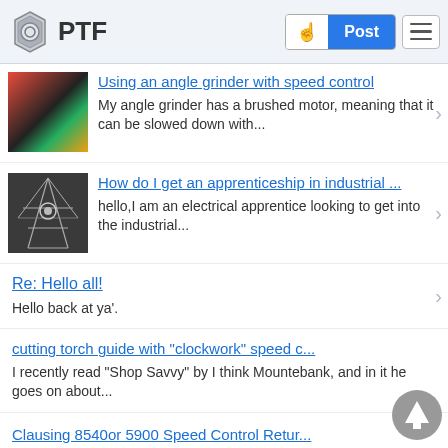PTF | Post
Using an angle grinder with speed control
My angle grinder has a brushed motor, meaning that it can be slowed down with...
How do I get an apprenticeship in industrial ...
hello,I am an electrical apprentice looking to get into the industrial...
Re: Hello all!
Hello back at ya'.
cutting torch guide with "clockwork" speed c...
I recently read "Shop Savvy" by I think Mountebank, and in it he goes on about...
Clausing 8540or 5900 Speed Control Retur...
Are there any tricks or gotchas to inspecting or removing the spring inside the...
MIG wire speed control problems